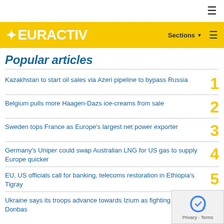EURACTIV — Sections
Popular articles
Kazakhstan to start oil sales via Azeri pipeline to bypass Russia
Belgium pulls more Haagen-Dazs ice-creams from sale
Sweden tops France as Europe's largest net power exporter
Germany's Uniper could swap Australian LNG for US gas to supply Europe quicker
EU, US officials call for banking, telecoms restoration in Ethiopia's Tigray
Ukraine says its troops advance towards Izium as fighting rages in Donbas